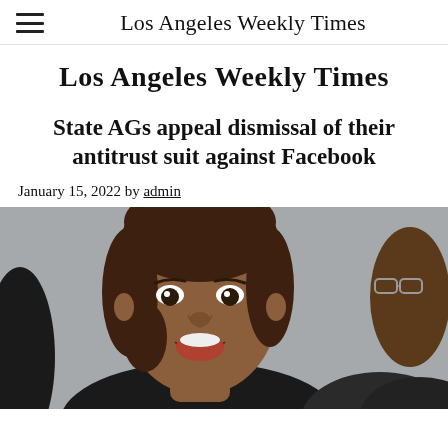Los Angeles Weekly Times
Los Angeles Weekly Times
State AGs appeal dismissal of their antitrust suit against Facebook
January 15, 2022 by admin
[Figure (photo): Close-up photo of a woman with brown hair speaking, mouth open, in front of a blurred grey background. A partial figure of another person wearing glasses is visible on the right edge.]